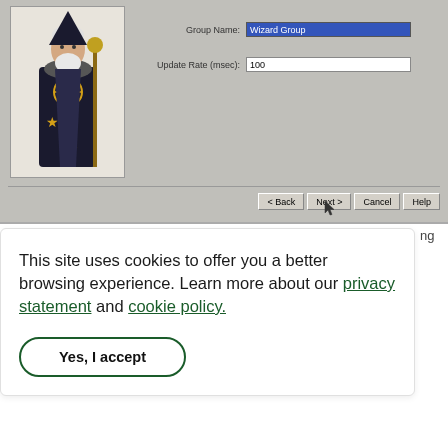[Figure (screenshot): Windows wizard dialog showing a wizard character image on the left, form fields for Group Name (value: Wizard Group, selected) and Update Rate (msec) (value: 100), and navigation buttons: Back, Next (active/hovered), Cancel, Help]
This site uses cookies to offer you a better browsing experience. Learn more about our privacy statement and cookie policy.
Yes, I accept